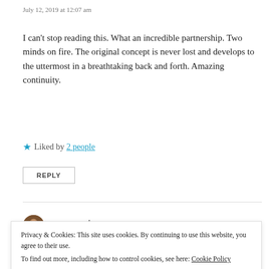July 12, 2019 at 12:07 am
I can't stop reading this. What an incredible partnership. Two minds on fire. The original concept is never lost and develops to the uttermost in a breathtaking back and forth. Amazing continuity.
★ Liked by 2 people
REPLY
moorezart
July 17, 2019 at 7:25 pm
Privacy & Cookies: This site uses cookies. By continuing to use this website, you agree to their use. To find out more, including how to control cookies, see here: Cookie Policy
Close and accept